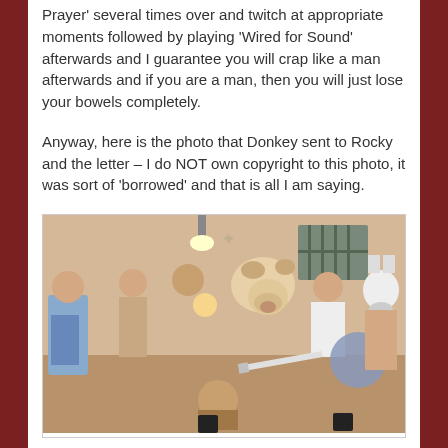Prayer' several times over and twitch at appropriate moments followed by playing 'Wired for Sound' afterwards and I guarantee you will crap like a man afterwards and if you are a man, then you will just lose your bowels completely.
Anyway, here is the photo that Donkey sent to Rocky and the letter – I do NOT own copyright to this photo, it was sort of 'borrowed' and that is all I am saying.
[Figure (photo): A humorous group photo of several people in various states of undress, with animal head overlays (dog head, donkey/cow head) digitally placed on some figures. The scene appears to be indoors, with people posing dramatically.]